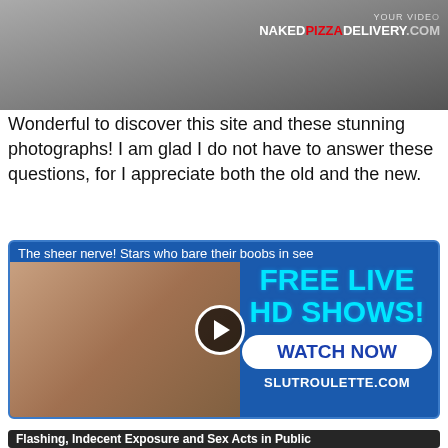[Figure (screenshot): Top banner screenshot showing a video thumbnail with text 'YOUR VIDEO NAKEDPIZZADELIVERY.COM' overlaid on a blurred image.]
Wonderful to discover this site and these stunning photographs! I am glad I do not have to answer these questions, for I appreciate both the old and the new.
[Figure (screenshot): Advertisement banner with blue background showing 'The sheer nerve! Stars who bare their boobs in see' at top, a woman in lingerie on the left, a play button circle in the center, and on the right 'FREE LIVE HD SHOWS!' in cyan text, a white rounded rectangle with 'WATCH NOW' in blue bold text, and 'SLUTROULETTE.COM' in white bold text at the bottom.]
.
[Figure (screenshot): Bottom banner with dark overlay showing text 'Flashing, Indecent Exposure and Sex Acts in Public' in white on a dark semi-transparent background over a blurred image.]